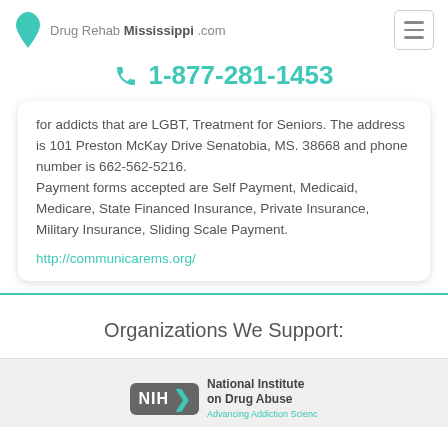Drug Rehab Mississippi .com
1-877-281-1453
for addicts that are LGBT, Treatment for Seniors. The address is 101 Preston McKay Drive Senatobia, MS. 38668 and phone number is 662-562-5216.
Payment forms accepted are Self Payment, Medicaid, Medicare, State Financed Insurance, Private Insurance, Military Insurance, Sliding Scale Payment.
http://communicarems.org/
Organizations We Support:
[Figure (logo): NIH National Institute on Drug Abuse logo with teal chevron and gray badge]